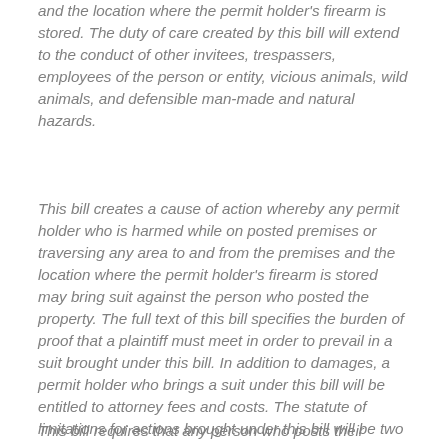and the location where the permit holder's firearm is stored. The duty of care created by this bill will extend to the conduct of other invitees, trespassers, employees of the person or entity, vicious animals, wild animals, and defensible man-made and natural hazards.
This bill creates a cause of action whereby any permit holder who is harmed while on posted premises or traversing any area to and from the premises and the location where the permit holder's firearm is stored may bring suit against the person who posted the property. The full text of this bill specifies the burden of proof that a plaintiff must meet in order to prevail in a suit brought under this bill. In addition to damages, a permit holder who brings a suit under this bill will be entitled to attorney fees and costs. The statute of limitations for actions brought under this bill will be two years.
This bill requires that any person who posts their